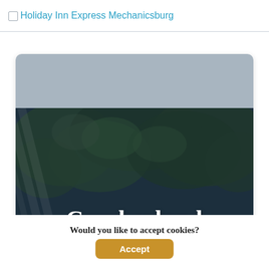Holiday Inn Express Mechanicsburg
[Figure (screenshot): Hotel website screenshot showing a card with a grey top section and a dark photo background of trees with the word 'Cumberland' in cursive white script text overlaid]
Would you like to accept cookies?
Accept